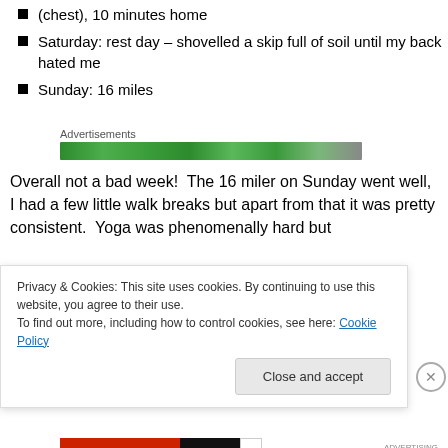(chest), 10 minutes home
Saturday: rest day – shovelled a skip full of soil until my back hated me
Sunday: 16 miles
[Figure (other): Advertisements banner — a green gradient horizontal bar labeled 'Advertisements']
Overall not a bad week!  The 16 miler on Sunday went well, I had a few little walk breaks but apart from that it was pretty consistent.  Yoga was phenomenally hard but
Privacy & Cookies: This site uses cookies. By continuing to use this website, you agree to their use.
To find out more, including how to control cookies, see here: Cookie Policy
Close and accept